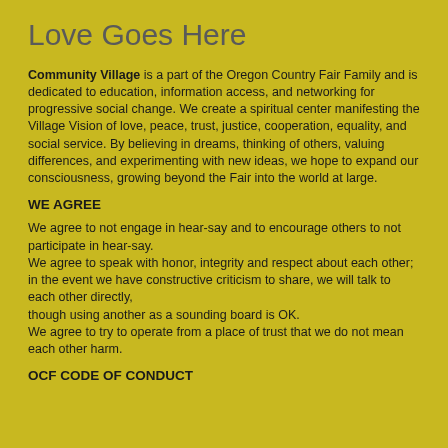Love Goes Here
Community Village is a part of the Oregon Country Fair Family and is dedicated to education, information access, and networking for progressive social change. We create a spiritual center manifesting the Village Vision of love, peace, trust, justice, cooperation, equality, and social service. By believing in dreams, thinking of others, valuing differences, and experimenting with new ideas, we hope to expand our consciousness, growing beyond the Fair into the world at large.
WE AGREE
We agree to not engage in hear-say and to encourage others to not participate in hear-say.
We agree to speak with honor, integrity and respect about each other;
in the event we have constructive criticism to share, we will talk to each other directly,
though using another as a sounding board is OK.
We agree to try to operate from a place of trust that we do not mean each other harm.
OCF CODE OF CONDUCT